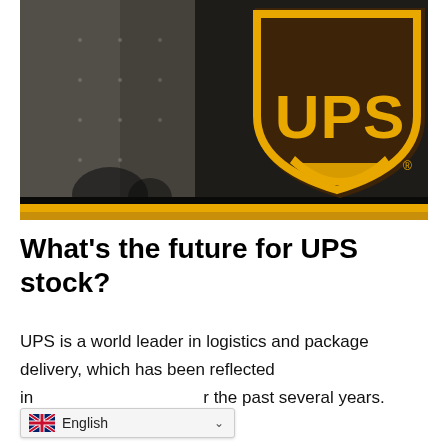[Figure (photo): UPS logo shield on a dark surface (truck or building), with gold/brown color scheme. Gray wall visible on left side, golden horizontal strip at bottom edge.]
What’s the future for UPS stock?
UPS is a world leader in logistics and package delivery, which has been reflected in the past several years.